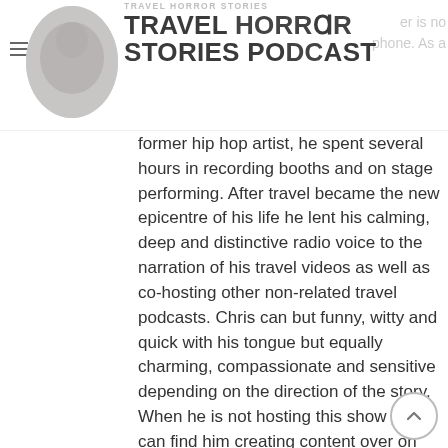Travel Horror Stories Podcast
former hip hop artist, he spent several hours in recording booths and on stage performing. After travel became the new epicentre of his life he lent his calming, deep and distinctive radio voice to the narration of his travel videos as well as co-hosting other non-related travel podcasts. Chris can but funny, witty and quick with his tongue but equally charming, compassionate and sensitive depending on the direction of the story. When he is not hosting this show you can find him creating content over on his blogs Rudderless Travel & Road Trip Ontario, filming & editing travel videos for his YouTube channel or